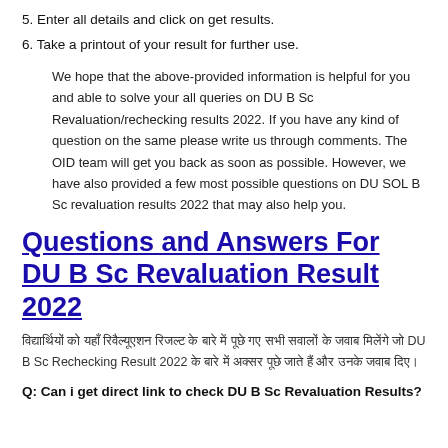5. Enter all details and click on get results.
6. Take a printout of your result for further use.
We hope that the above-provided information is helpful for you and able to solve your all queries on DU B Sc Revaluation/rechecking results 2022. If you have any kind of question on the same please write us through comments. The OID team will get you back as soon as possible. However, we have also provided a few most possible questions on DU SOL B Sc revaluation results 2022 that may also help you.
Questions and Answers For DU B Sc Revaluation Result 2022
विद्यार्थियों को यहाँ रिवैल्यूएशन रिजल्ट के बारे में पूछे गए सभी सवालों के जवाब मिलेंगे जो DU B Sc Rechecking Result 2022 के बारे में अक्सर पूछे जाते हैं और उनके जवाब दिए।
Q: Can i get direct link to check DU B Sc Revaluation Results?